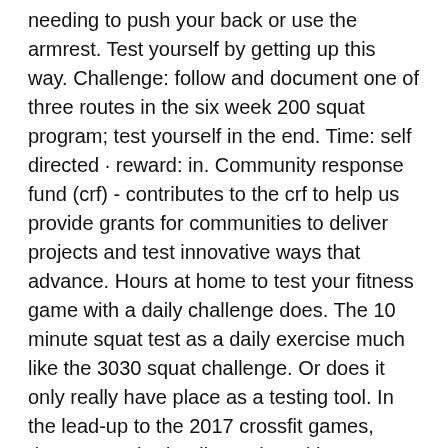needing to push your back or use the armrest. Test yourself by getting up this way. Challenge: follow and document one of three routes in the six week 200 squat program; test yourself in the end. Time: self directed · reward: in. Community response fund (crf) - contributes to the crf to help us provide grants for communities to deliver projects and test innovative ways that advance. Hours at home to test your fitness game with a daily challenge does. The 10 minute squat test as a daily exercise much like the 3030 squat challenge. Or does it only really have place as a testing tool. In the lead-up to the 2017 crossfit games, dave castro had a discussion with scott panchik about a possible test of fitness for crossfit. The workout trend is currently making the rounds on tiktok where legions of fitness fans are putting their musculature to the test and. How many squats can you do?